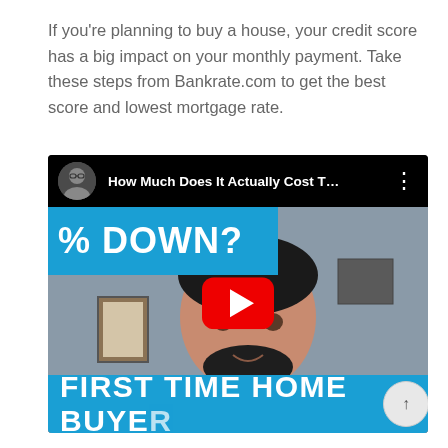If you're planning to buy a house, your credit score has a big impact on your monthly payment. Take these steps from Bankrate.com to get the best score and lowest mortgage rate.
[Figure (screenshot): YouTube video embed showing a man in a red shirt against a gray background with text overlays. Top bar shows avatar, title 'How Much Does It Actually Cost T...' and three-dot menu. Blue banner on left reads '% DOWN?'. Red YouTube play button in center. Bottom blue banner reads 'FIRST TIME HOME BUYER'.]